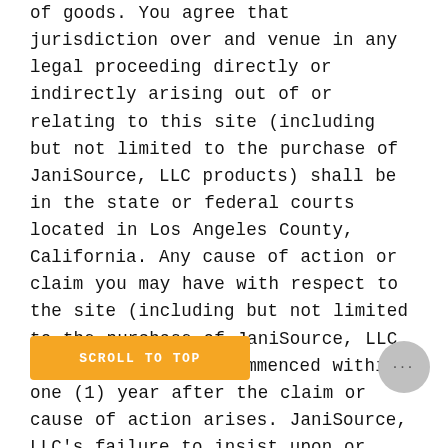of goods. You agree that jurisdiction over and venue in any legal proceeding directly or indirectly arising out of or relating to this site (including but not limited to the purchase of JaniSource, LLC products) shall be in the state or federal courts located in Los Angeles County, California. Any cause of action or claim you may have with respect to the site (including but not limited to the purchase of JaniSource, LLC products) must be commenced within one (1) year after the claim or cause of action arises. JaniSource, LLC's failure to insist upon or enforce strict performance of any provision of these terms and conditions shall not be construed as a waiver of any provision or right. Neither the course of conduct between the parties nor trade practice shall act to modify these terms and conditions. JaniSource, LLC may assign its rights and duties under this Agreement to any party at any time without notice to